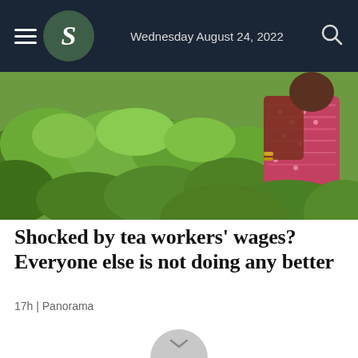Wednesday August 24, 2022
[Figure (photo): A woman in a pink patterned sari standing among lush green tea bushes on a tea plantation]
Shocked by tea workers' wages? Everyone else is not doing any better
17h | Panorama